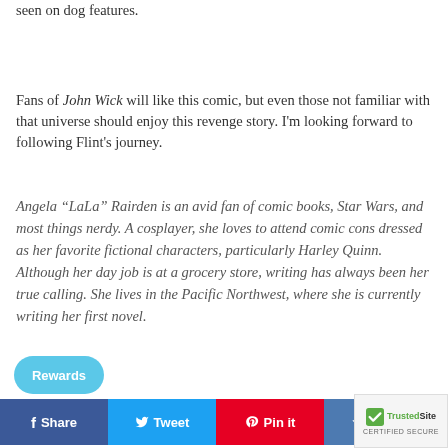seen on dog features.
Fans of John Wick will like this comic, but even those not familiar with that universe should enjoy this revenge story. I'm looking forward to following Flint's journey.
Angela “LaLa” Rairden is an avid fan of comic books, Star Wars, and most things nerdy. A cosplayer, she loves to attend comic cons dressed as her favorite fictional characters, particularly Harley Quinn. Although her day job is at a grocery store, writing has always been her true calling. She lives in the Pacific Northwest, where she is currently writing her first novel.
[Figure (other): Social sharing bar with buttons: Share (Facebook), Tweet (Twitter), Pin it (Pinterest), Fancy; plus TrustedSite Certified Secure badge and Rewards bubble]